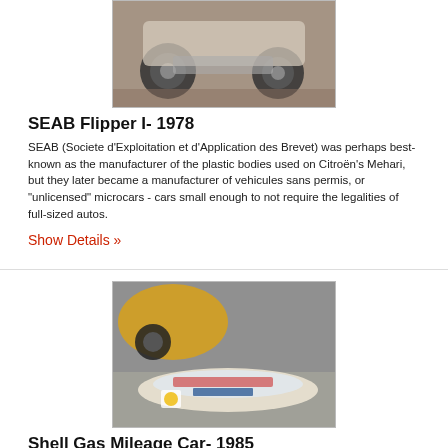[Figure (photo): Bottom view of SEAB Flipper I microcar from 1978, showing wheels and undercarriage on a brick floor]
SEAB Flipper I- 1978
SEAB (Societe d'Exploitation et d'Application des Brevet) was perhaps best-known as the manufacturer of the plastic bodies used on Citroën's Mehari, but they later became a manufacturer of vehicules sans permis, or "unlicensed" microcars - cars small enough to not require the legalities of full-sized autos.
Show Details »
[Figure (photo): Shell Gas Mileage Car from 1985, a low-profile aerodynamic vehicle with Shell logo, lying on a concrete floor next to a yellow vehicle]
Shell Gas Mileage Car- 1985